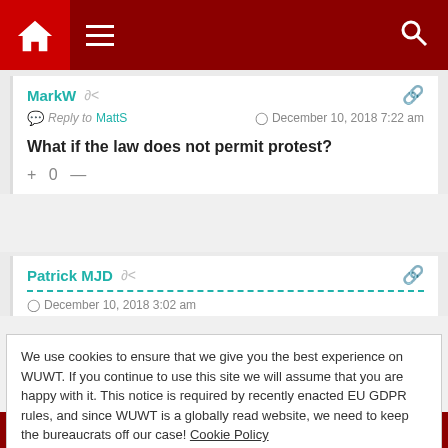WUWT navigation bar with home, menu, and search icons
MarkW  Reply to MattS  December 10, 2018 7:22 am
What if the law does not permit protest?
+ 0 —
Patrick MJD  December 10, 2018 3:02 am
We use cookies to ensure that we give you the best experience on WUWT. If you continue to use this site we will assume that you are happy with it. This notice is required by recently enacted EU GDPR rules, and since WUWT is a globally read website, we need to keep the bureaucrats off our case! Cookie Policy
Close and accept
+ 0 —